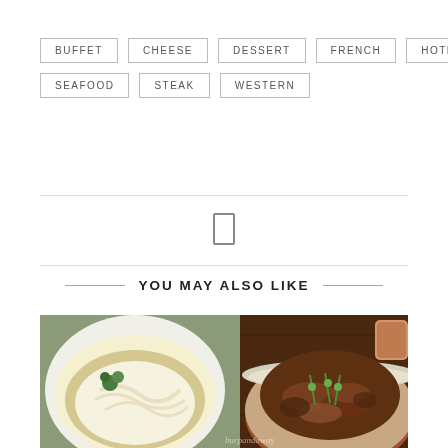BUFFET
CHEESE
DESSERT
FRENCH
HOTEL
SEAFOOD
STEAK
WESTERN
YOU MAY ALSO LIKE
[Figure (photo): Two food dishes: a bowl of white noodle soup on the left and a clay pot with braised meat and vegetables garnished with spring onions on the right, on a wooden table.]